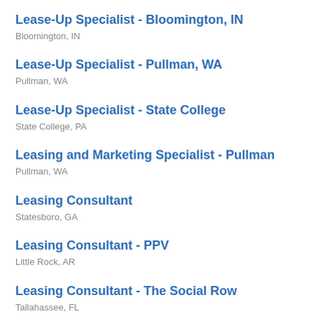Lease-Up Specialist - Bloomington, IN
Bloomington, IN
Lease-Up Specialist - Pullman, WA
Pullman, WA
Lease-Up Specialist - State College
State College, PA
Leasing and Marketing Specialist - Pullman
Pullman, WA
Leasing Consultant
Statesboro, GA
Leasing Consultant - PPV
Little Rock, AR
Leasing Consultant - The Social Row
Tallahassee, FL